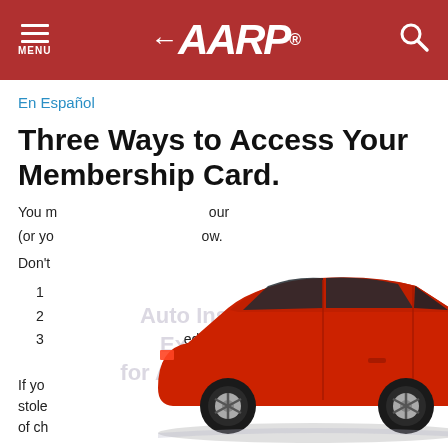MENU | AARP | Search
En Español
Three Ways to Access Your Membership Card.
You m[ay access] our (or yo[ur spouse's card bel]ow.
Don't[worry if...]
1
2
3  [...]ed at
[Figure (photo): Red sedan car viewed from the side, overlaid with faded text 'Auto Insurance Exclusively for AARP Members']
If yo[u have lost or had your card] en stole[n, a replacement will be mailed f]ree of ch[arge...]